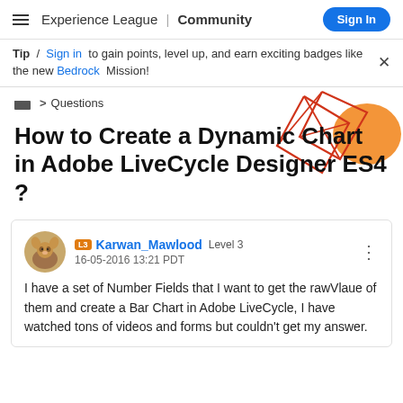Experience League | Community  Sign In
Tip / Sign in to gain points, level up, and earn exciting badges like the new Bedrock Mission!
> Questions
[Figure (illustration): Decorative geometric illustration with red diamond/polygon shapes and orange oval on top-right of page]
How to Create a Dynamic Chart in Adobe LiveCycle Designer ES4 ?
Karwan_Mawlood  Level 3
16-05-2016 13:21 PDT
I have a set of Number Fields that I want to get the rawVlaue of them and create a Bar Chart in Adobe LiveCycle, I have watched tons of videos and forms but couldn't get my answer.